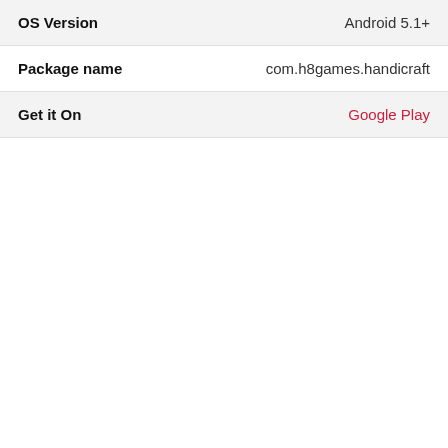| Field | Value |
| --- | --- |
| OS Version | Android 5.1+ |
| Package name | com.h8games.handicraft |
| Get it On | Google Play |